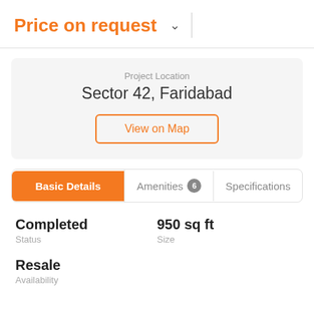Price on request
Project Location
Sector 42, Faridabad
View on Map
Basic Details | Amenities 6 | Specifications
Completed
Status
950 sq ft
Size
Resale
Availability